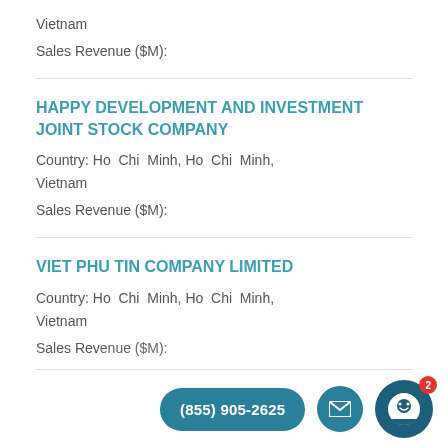Vietnam
Sales Revenue ($M):
HAPPY DEVELOPMENT AND INVESTMENT JOINT STOCK COMPANY
Country: Ho Chi Minh, Ho Chi Minh, Vietnam
Sales Revenue ($M):
VIET PHU TIN COMPANY LIMITED
Country: Ho Chi Minh, Ho Chi Minh, Vietnam
Sales Revenue ($M):